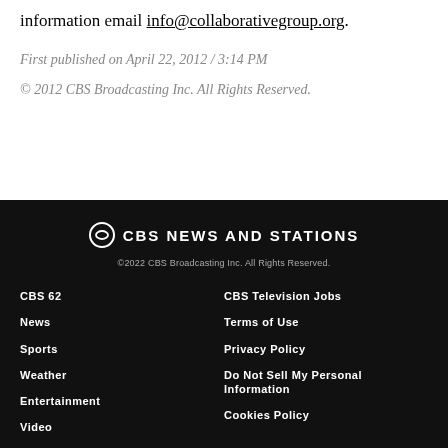information email info@collaborativegroup.org.
First published on April 22, 2012 / 3:14 PM
© 2012 CBS Broadcasting Inc. All Rights Reserved.
CBS NEWS AND STATIONS
©2022 CBS Broadcasting Inc. All Rights Reserved.
CBS 62 | CBS Television Jobs | News | Terms of Use | Sports | Privacy Policy | Weather | Do Not Sell My Personal Information | Entertainment | Cookies Policy | Video